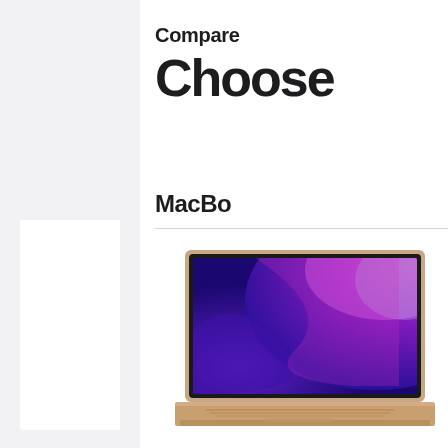Compare
Choose
MacBo
[Figure (photo): MacBook Air laptop in gold color with macOS Monterey purple/pink wallpaper visible on screen, partially cropped at right edge]